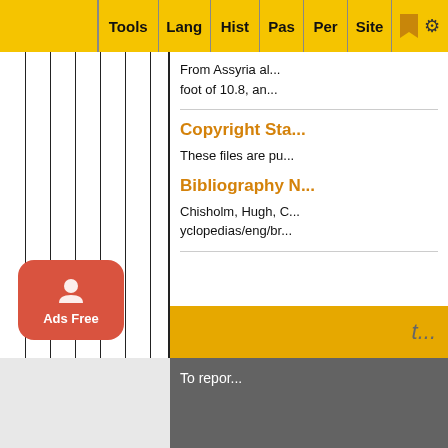Tools | Lang | Hist | Pas | Per | Site
From Assyria al... foot of 10.8, an...
Copyright Sta...
These files are pu...
Bibliography N...
Chisholm, Hugh, C... yclopedias/eng/br...
To repor...